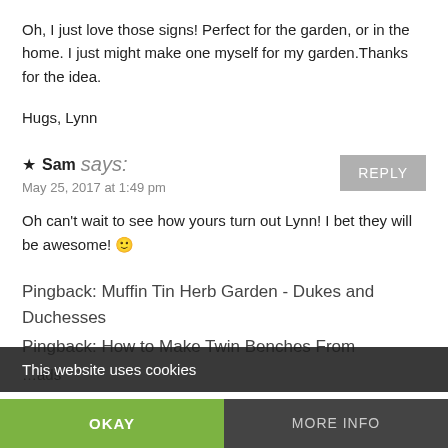Oh, I just love those signs! Perfect for the garden, or in the home. I just might make one myself for my garden.Thanks for the idea.
Hugs, Lynn
★ Sam says:
May 25, 2017 at 1:49 pm
Oh can't wait to see how yours turn out Lynn! I bet they will be awesome! 🙂
Pingback: Muffin Tin Herb Garden - Dukes and Duchesses
Pingback: How to Make Twin Benches From...
This website uses cookies
OKAY
MORE INFO